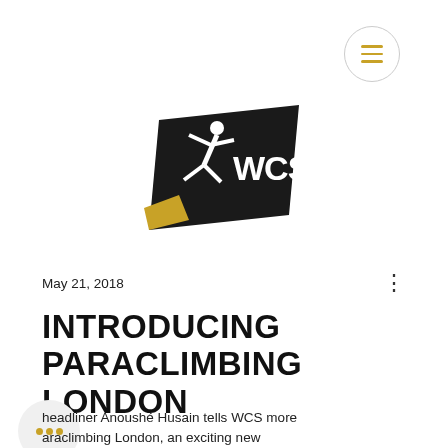[Figure (logo): Hamburger/menu button circle icon with three gold horizontal lines]
[Figure (logo): WCS climbing federation logo: black diamond shape with a white climbing figure and 'WCS' text, gold accent on lower left]
May 21, 2018
INTRODUCING PARACLIMBING LONDON
headliner Anoushé Husain tells WCS more araclimbing London, an exciting new social initiative for differently abled climbers with